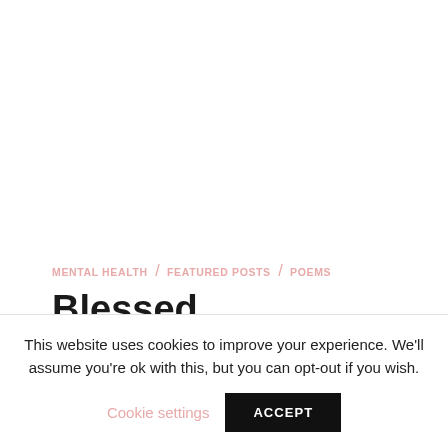MENTAL HEALTH / FEATURED POSTS / POEMS
Blessed
This website uses cookies to improve your experience. We'll assume you're ok with this, but you can opt-out if you wish.
Cookie settings  ACCEPT